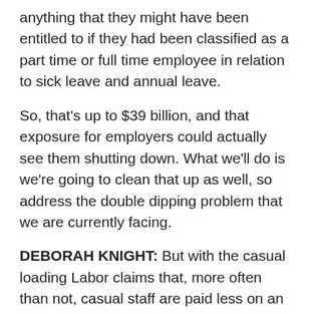anything that they might have been entitled to if they had been classified as a part time or full time employee in relation to sick leave and annual leave.
So, that's up to $39 billion, and that exposure for employers could actually see them shutting down. What we'll do is we're going to clean that up as well, so address the double dipping problem that we are currently facing.
DEBORAH KNIGHT: But with the casual loading Labor claims that, more often than not, casual staff are paid less on an hourly basis than full timers.
MINISTER CASH: Well, casual loading is above and beyond your hourly rate that you would get, say,